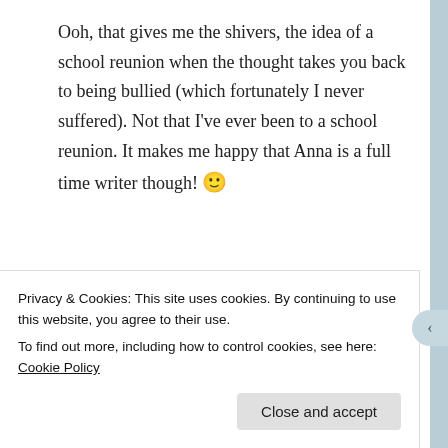Ooh, that gives me the shivers, the idea of a school reunion when the thought takes you back to being bullied (which fortunately I never suffered). Not that I've ever been to a school reunion. It makes me happy that Anna is a full time writer though! 🙂
★ Like
Reply
Privacy & Cookies: This site uses cookies. By continuing to use this website, you agree to their use.
To find out more, including how to control cookies, see here: Cookie Policy
Close and accept